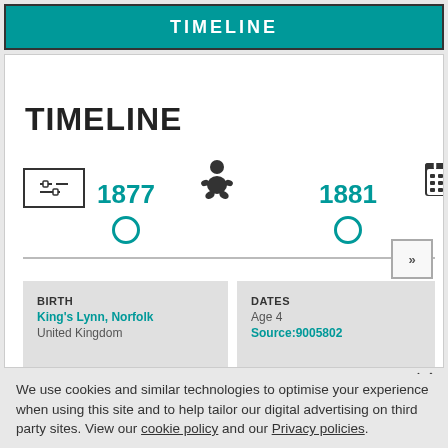TIMELINE
TIMELINE
[Figure (infographic): Interactive genealogy timeline showing events in 1877 (BIRTH: King's Lynn, Norfolk, United Kingdom) and 1881 (DATES: Age 4, Source:9005802) with horizontal timeline line, teal circle markers, navigation icons]
We use cookies and similar technologies to optimise your experience when using this site and to help tailor our digital advertising on third party sites. View our cookie policy and our Privacy policies.